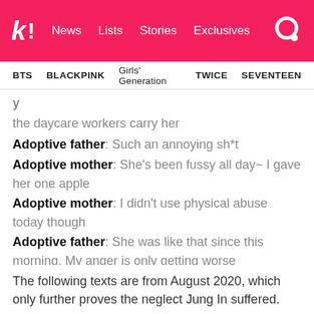K! News Lists Stories Exclusives
BTS BLACKPINK Girls' Generation TWICE SEVENTEEN
the daycare workers carry her
Adoptive father: Such an annoying sh*t
Adoptive mother: She's been fussy all day~ I gave her one apple
Adoptive mother: I didn't use physical abuse today though
Adoptive father: She was like that since this morning. My anger is only getting worse
The following texts are from August 2020, which only further proves the neglect Jung In suffered.